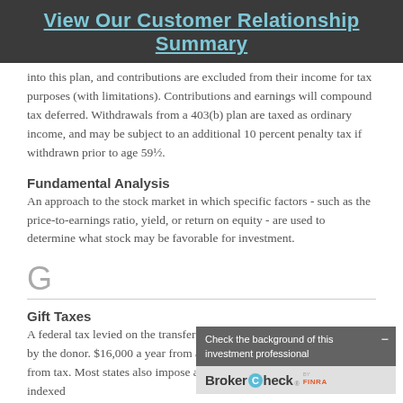View Our Customer Relationship Summary
into this plan, and contributions are excluded from their income for tax purposes (with limitations). Contributions and earnings will compound tax deferred. Withdrawals from a 403(b) plan are taxed as ordinary income, and may be subject to an additional 10 percent penalty tax if withdrawn prior to age 59½.
Fundamental Analysis
An approach to the stock market in which specific factors - such as the price-to-earnings ratio, yield, or return on equity - are used to determine what stock may be favorable for investment.
G
Gift Taxes
A federal tax levied on the transfer of property as a gift. This tax is paid by the donor. $16,000 a year from a donor to each recipient is excluded from tax. Most states also impose a gift tax. The gift tax exclusion is indexed